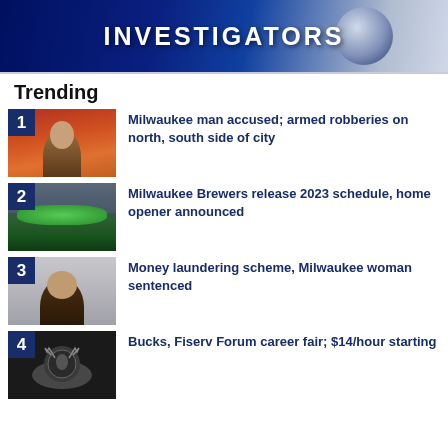[Figure (illustration): Investigators banner with dark blue background and globe graphic, bold white text reading INVESTIGATORS]
Trending
Milwaukee man accused; armed robberies on north, south side of city
Milwaukee Brewers release 2023 schedule, home opener announced
Money laundering scheme, Milwaukee woman sentenced
Bucks, Fiserv Forum career fair; $14/hour starting